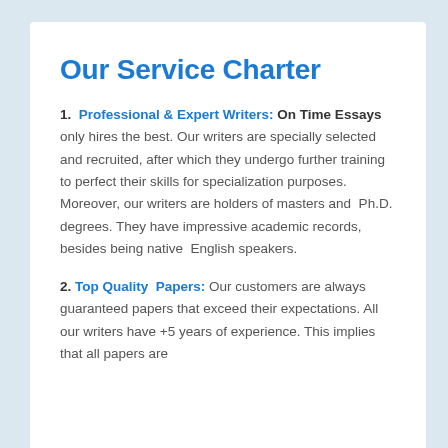Our Service Charter
1. Professional & Expert Writers: On Time Essays only hires the best. Our writers are specially selected and recruited, after which they undergo further training to perfect their skills for specialization purposes. Moreover, our writers are holders of masters and Ph.D. degrees. They have impressive academic records, besides being native English speakers.
2. Top Quality Papers: Our customers are always guaranteed papers that exceed their expectations. All our writers have +5 years of experience. This implies that all papers are